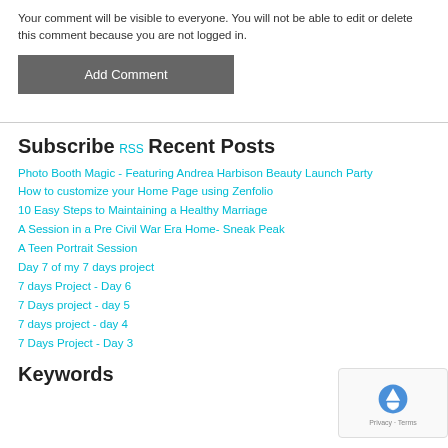Your comment will be visible to everyone. You will not be able to edit or delete this comment because you are not logged in.
Add Comment
Subscribe
RSS
Recent Posts
Photo Booth Magic - Featuring Andrea Harbison Beauty Launch Party
How to customize your Home Page using Zenfolio
10 Easy Steps to Maintaining a Healthy Marriage
A Session in a Pre Civil War Era Home- Sneak Peak
A Teen Portrait Session
Day 7 of my 7 days project
7 days Project - Day 6
7 Days project - day 5
7 days project - day 4
7 Days Project - Day 3
Keywords